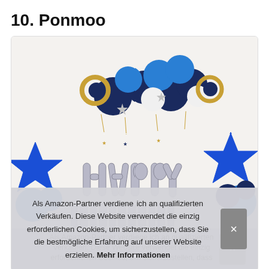10. Ponmoo
[Figure (photo): A Happy Birthday balloon decoration set with silver letter balloons spelling HAPPY BIRTHDAY, blue and navy foil star balloons, and a balloon garland arch with blue, navy, white, and gold balloons against a white wall background.]
Als Amazon-Partner verdiene ich an qualifizierten Verkäufen. Diese Website verwendet die einzig erforderlichen Cookies, um sicherzustellen, dass Sie die bestmögliche Erfahrung auf unserer Website erzielen. Mehr Informationen